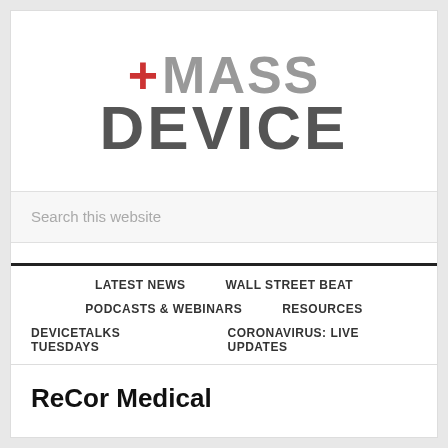[Figure (logo): MassDevice logo with red plus sign and gray/dark text]
Search this website
LATEST NEWS
WALL STREET BEAT
PODCASTS & WEBINARS
RESOURCES
DEVICETALKS TUESDAYS
CORONAVIRUS: LIVE UPDATES
ReCor Medical